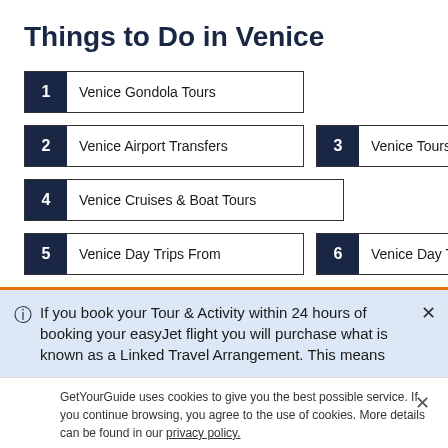Things to Do in Venice
1 Venice Gondola Tours
2 Venice Airport Transfers
3 Venice Tours
4 Venice Cruises & Boat Tours
5 Venice Day Trips From
6 Venice Day Trips
If you book your Tour & Activity within 24 hours of booking your easyJet flight you will purchase what is known as a Linked Travel Arrangement. This means
GetYourGuide uses cookies to give you the best possible service. If you continue browsing, you agree to the use of cookies. More details can be found in our privacy policy.